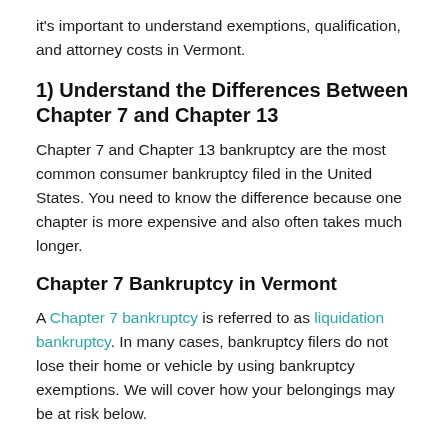it's important to understand exemptions, qualification, and attorney costs in Vermont.
1) Understand the Differences Between Chapter 7 and Chapter 13
Chapter 7 and Chapter 13 bankruptcy are the most common consumer bankruptcy filed in the United States. You need to know the difference because one chapter is more expensive and also often takes much longer.
Chapter 7 Bankruptcy in Vermont
A Chapter 7 bankruptcy is referred to as liquidation bankruptcy. In many cases, bankruptcy filers do not lose their home or vehicle by using bankruptcy exemptions. We will cover how your belongings may be at risk below.